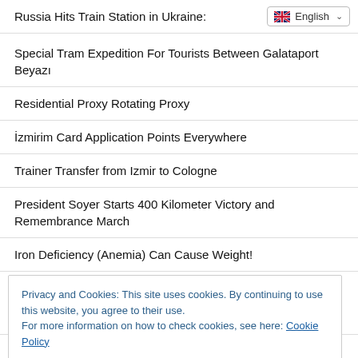Russia Hits Train Station in Ukraine:
Special Tram Expedition For Tourists Between Galataport Beyazı
Residential Proxy Rotating Proxy
İzmirim Card Application Points Everywhere
Trainer Transfer from Izmir to Cologne
President Soyer Starts 400 Kilometer Victory and Remembrance March
Iron Deficiency (Anemia) Can Cause Weight!
THY Becomes the Main Transportation Sponsor of the
Privacy and Cookies: This site uses cookies. By continuing to use this website, you agree to their use. For more information on how to check cookies, see here: Cookie Policy
Today in History: Linus Torvalds Announces the First Release